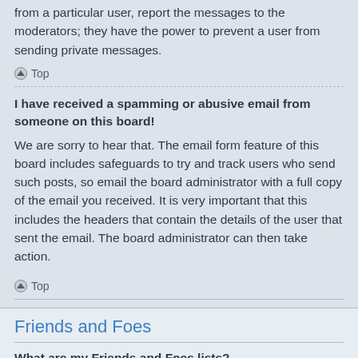from a particular user, report the messages to the moderators; they have the power to prevent a user from sending private messages.
Top
I have received a spamming or abusive email from someone on this board!
We are sorry to hear that. The email form feature of this board includes safeguards to try and track users who send such posts, so email the board administrator with a full copy of the email you received. It is very important that this includes the headers that contain the details of the user that sent the email. The board administrator can then take action.
Top
Friends and Foes
What are my Friends and Foes lists?